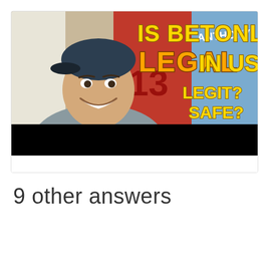[Figure (screenshot): YouTube video thumbnail showing a smiling young man wearing a backwards cap, in front of sports jerseys on a wall. Text overlay reads: 'IS BETONLINE LEGAL IN US? LEGIT? SAFE?' in bold yellow and gold comic-style lettering.]
9 other answers